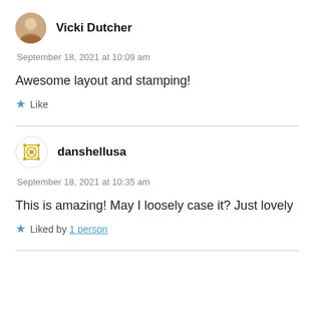Vicki Dutcher
September 18, 2021 at 10:09 am
Awesome layout and stamping!
Like
danshellusa
September 18, 2021 at 10:35 am
This is amazing! May I loosely case it? Just lovely
Liked by 1 person